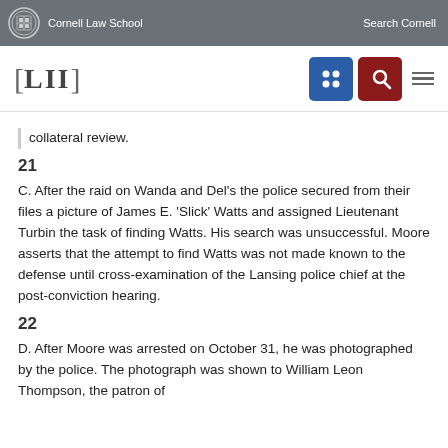Cornell Law School | Search Cornell
[Figure (logo): LII Legal Information Institute logo with navigation icons]
collateral review.
21
C. After the raid on Wanda and Del's the police secured from their files a picture of James E. 'Slick' Watts and assigned Lieutenant Turbin the task of finding Watts. His search was unsuccessful. Moore asserts that the attempt to find Watts was not made known to the defense until cross-examination of the Lansing police chief at the post-conviction hearing.
22
D. After Moore was arrested on October 31, he was photographed by the police. The photograph was shown to William Leon Thompson, the patron of